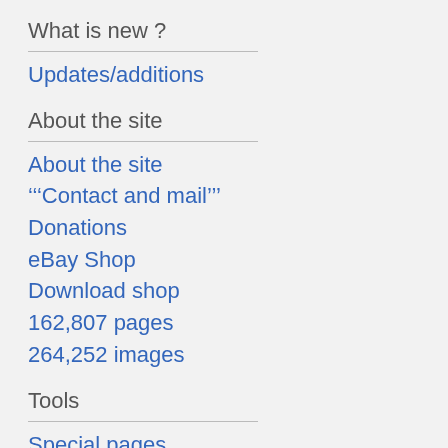What is new ?
Updates/additions
About the site
About the site
"'Contact and mail'"
Donations
eBay Shop
Download shop
162,807 pages
264,252 images
Tools
Special pages
Printable version